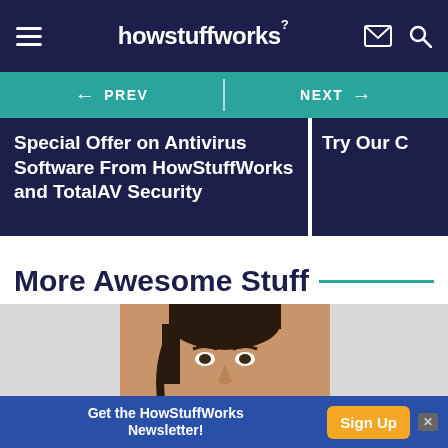howstuffworks
← PREV | NEXT →
Special Offer on Antivirus Software From HowStuffWorks and TotalAV Security
Try Our C
More Awesome Stuff
[Figure (photo): Young man looking in mirror, touching chin, wearing white towel]
Get the HowStuffWorks Newsletter!